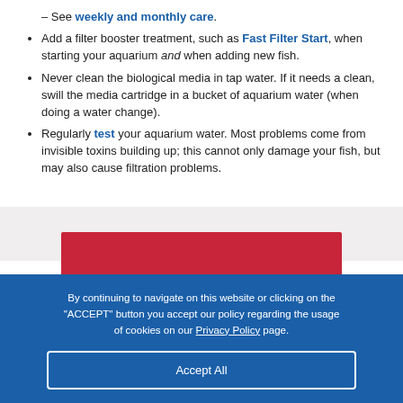– See weekly and monthly care.
Add a filter booster treatment, such as Fast Filter Start, when starting your aquarium and when adding new fish.
Never clean the biological media in tap water. If it needs a clean, swill the media cartridge in a bucket of aquarium water (when doing a water change).
Regularly test your aquarium water. Most problems come from invisible toxins building up; this cannot only damage your fish, but may also cause filtration problems.
By continuing to navigate on this website or clicking on the "ACCEPT" button you accept our policy regarding the usage of cookies on our Privacy Policy page.
Accept All